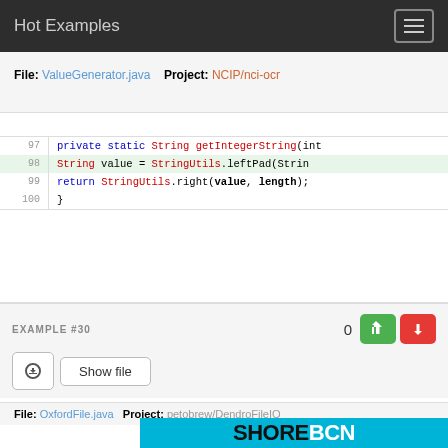Hot Examples
File: ValueGenerator.java   Project: NCIP/nci-ocr
97  private static String getIntegerString(int
98  String value = StringUtils.leftPad(Strin
99  return StringUtils.right(value, length);
100 }
EXAMPLE #30
0
Show file
File: OxfordFile.java   Project: petobrew/DendroFileIO
[Figure (logo): SHOREBCN logo on cyan background with wave decorations]